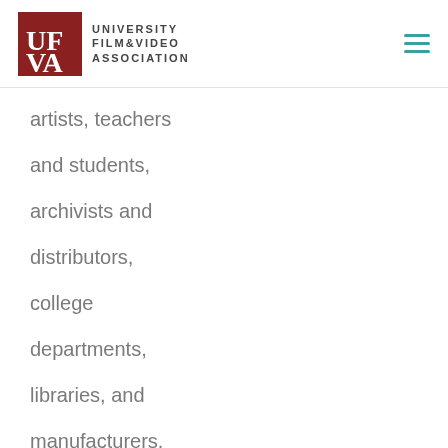UNIVERSITY FILM & VIDEO ASSOCIATION
artists, teachers

and students,

archivists and

distributors,

college

departments,

libraries, and

manufacturers.